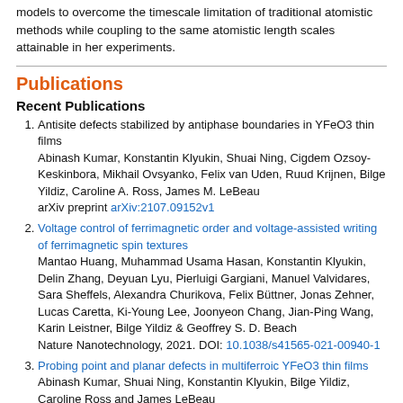models to overcome the timescale limitation of traditional atomistic methods while coupling to the same atomistic length scales attainable in her experiments.
Publications
Recent Publications
Antisite defects stabilized by antiphase boundaries in YFeO3 thin films
Abinash Kumar, Konstantin Klyukin, Shuai Ning, Cigdem Ozsoy-Keskinbora, Mikhail Ovsyanko, Felix van Uden, Ruud Krijnen, Bilge Yildiz, Caroline A. Ross, James M. LeBeau
arXiv preprint arXiv:2107.09152v1
Voltage control of ferrimagnetic order and voltage-assisted writing of ferrimagnetic spin textures
Mantao Huang, Muhammad Usama Hasan, Konstantin Klyukin, Delin Zhang, Deyuan Lyu, Pierluigi Gargiani, Manuel Valvidares, Sara Sheffels, Alexandra Churikova, Felix Büttner, Jonas Zehner, Lucas Caretta, Ki-Young Lee, Joonyeon Chang, Jian-Ping Wang, Karin Leistner, Bilge Yildiz & Geoffrey S. D. Beach
Nature Nanotechnology, 2021. DOI: 10.1038/s41565-021-00940-1
Probing point and planar defects in multiferroic YFeO3 thin films
Abinash Kumar, Shuai Ning, Konstantin Klyukin, Bilge Yildiz, Caroline Ross and James LeBeau